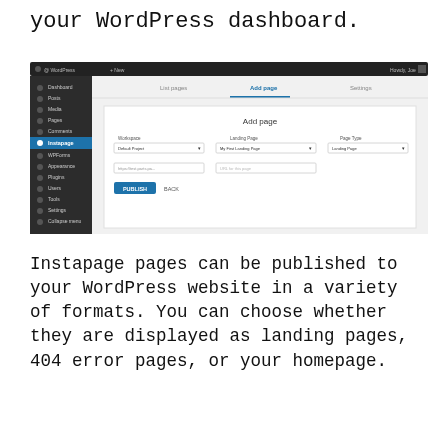your WordPress dashboard.
[Figure (screenshot): WordPress dashboard screenshot showing the Instapage plugin 'Add page' interface with fields for Workspace (Default Project), Landing Page (My First Landing Page), Page Type (Landing Page), a URL field, and PUBLISH / BACK buttons.]
Instapage pages can be published to your WordPress website in a variety of formats. You can choose whether they are displayed as landing pages, 404 error pages, or your homepage.